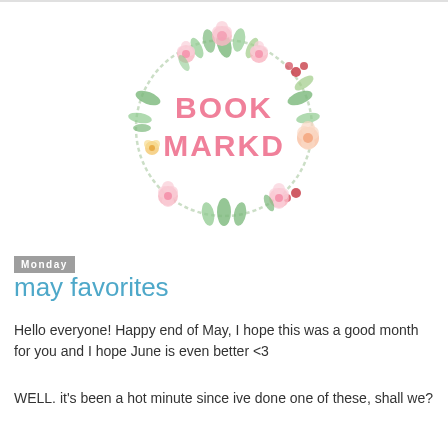[Figure (logo): Book Markd logo: circular floral wreath with pink and green watercolor flowers and leaves surrounding the text BOOK MARKD in pink lettering]
Monday
may favorites
Hello everyone! Happy end of May, I hope this was a good month for you and I hope June is even better <3
WELL. it's been a hot minute since ive done one of these, shall we?